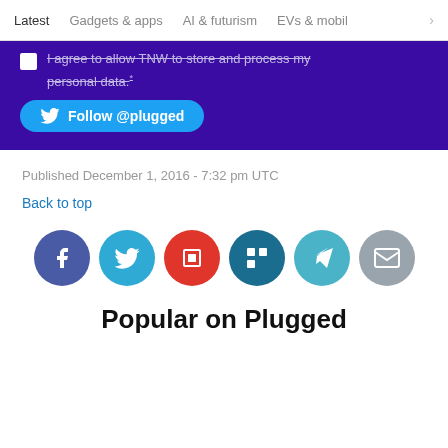Latest   Gadgets & apps   AI & futurism   EVs & mobil >
[Figure (screenshot): Purple banner with checkbox, text 'I agree to allow TNW to store and process my personal data.*', and a blue 'Follow @plugged' Twitter button]
Published December 1, 2016 - 7:32 pm UTC
Back to top
[Figure (infographic): Row of six social sharing icons: Facebook (dark blue), Twitter (light blue), Flipboard (red), LinkedIn (dark teal), Telegram (light blue), Email (gray)]
Popular on Plugged